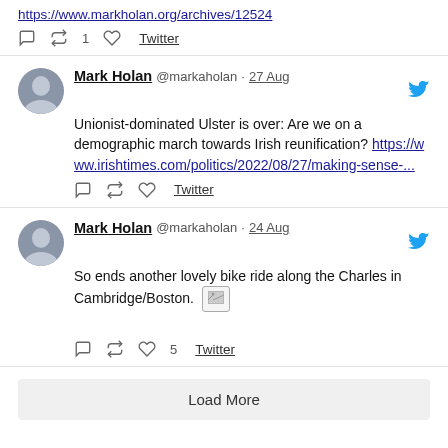https://www.markholan.org/archives/12524
retweet 1 · Twitter
Mark Holan @markaholan · 27 Aug — Unionist-dominated Ulster is over: Are we on a demographic march towards Irish reunification? https://www.irishtimes.com/politics/2022/08/27/making-sense-...
Twitter
Mark Holan @markaholan · 24 Aug — So ends another lovely bike ride along the Charles in Cambridge/Boston. [image]
likes 5 · Twitter
Load More